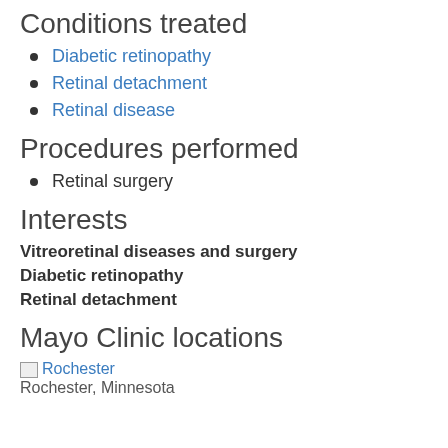Conditions treated
Diabetic retinopathy
Retinal detachment
Retinal disease
Procedures performed
Retinal surgery
Interests
Vitreoretinal diseases and surgery
Diabetic retinopathy
Retinal detachment
Mayo Clinic locations
Rochester
Rochester, Minnesota